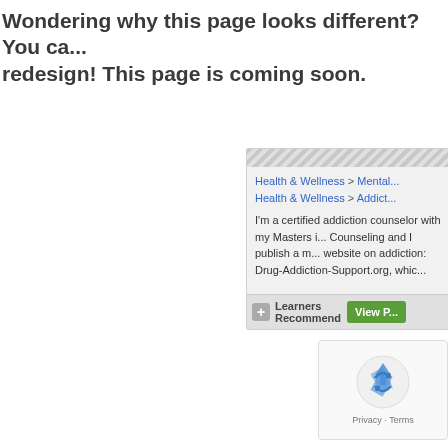Wondering why this page looks different? You ca... redesign! This page is coming soon.
[Figure (screenshot): A partial UI card showing breadcrumb navigation 'Health & Wellness > Mental... Health & Wellness > Addict...', descriptive text about a certified addiction counselor, a 'Learners Recommend' badge, and a green 'View P...' button.]
[Figure (other): reCAPTCHA widget showing a recycling arrows icon and Privacy · Terms footer text.]